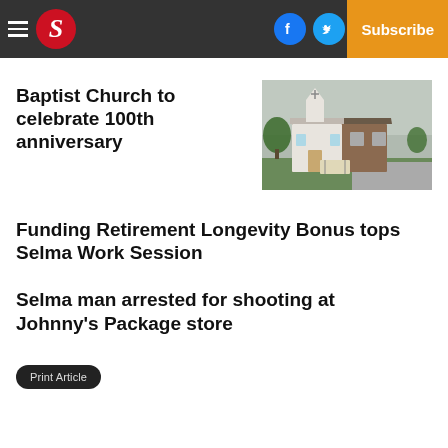S | Log In | Subscribe
Baptist Church to celebrate 100th anniversary
[Figure (photo): Exterior photo of a Baptist church building with a white steeple and brick facade, green lawn in front, overcast sky.]
Funding Retirement Longevity Bonus tops Selma Work Session
Selma man arrested for shooting at Johnny's Package store
Print Article